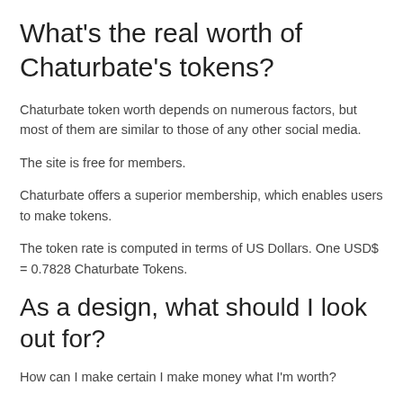What's the real worth of Chaturbate's tokens?
Chaturbate token worth depends on numerous factors, but most of them are similar to those of any other social media.
The site is free for members.
Chaturbate offers a superior membership, which enables users to make tokens.
The token rate is computed in terms of US Dollars. One USD$ = 0.7828 Chaturbate Tokens.
As a design, what should I look out for?
How can I make certain I make money what I'm worth?